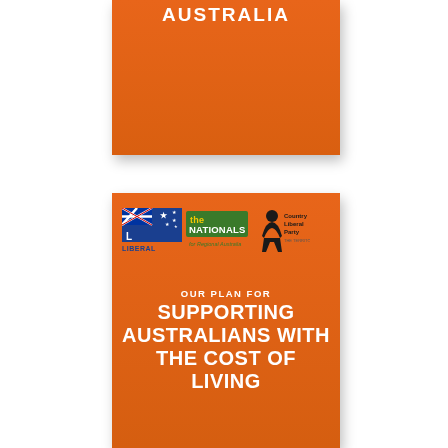[Figure (other): Top portion of an orange Liberal/Coalition policy document cover. White bold text reads 'AUSTRALIA' at top. Card is partially cropped.]
[Figure (other): Orange Liberal/Nationals/Country Liberal Party policy document cover. Shows three party logos at top (Liberal Party logo with Australian flag, The Nationals logo in green, Country Liberal Party logo). Below reads 'OUR PLAN FOR SUPPORTING AUSTRALIANS WITH THE COST OF LIVING' in white text.]
OUR PLAN FOR SUPPORTING AUSTRALIANS WITH THE COST OF LIVING